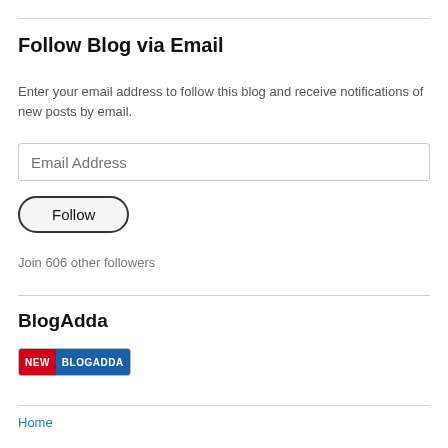Follow Blog via Email
Enter your email address to follow this blog and receive notifications of new posts by email.
[Figure (other): Email address input field with placeholder text 'Email Address']
[Figure (other): Follow button with rounded pill border]
Join 606 other followers
BlogAdda
[Figure (logo): BlogAdda badge with red 'NEW' section and blue 'BLOGADDA' section]
Home